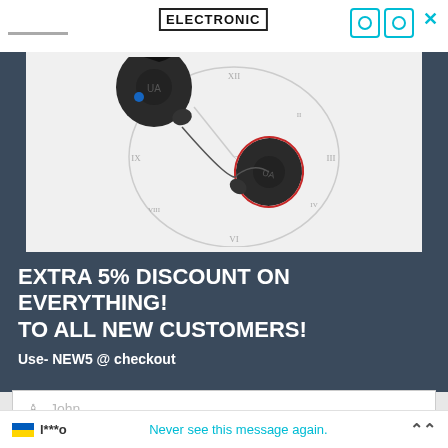[Figure (logo): ELECTRONIC text logo in black bold letters with border]
[Figure (photo): Two black wireless earbuds (Under Armour branded) with a clock face background, showing Roman numerals]
EXTRA 5% DISCOUNT ON EVERYTHING! TO ALL NEW CUSTOMERS!
Use- NEW5 @ checkout
John
Smith
johnsmith@example.com
Never see this message again.
l***o